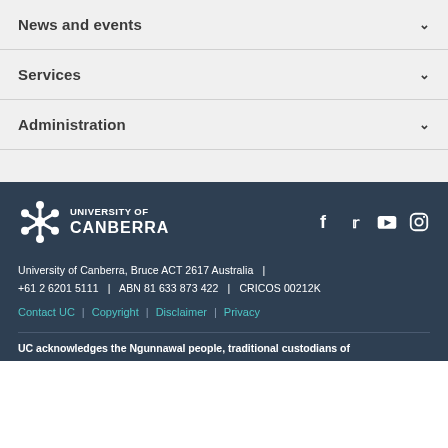News and events
Services
Administration
[Figure (logo): University of Canberra logo with gear/snowflake icon and text UNIVERSITY OF CANBERRA]
[Figure (other): Social media icons: Facebook, Twitter, YouTube, Instagram]
University of Canberra, Bruce ACT 2617 Australia | +61 2 6201 5111 | ABN 81 633 873 422 | CRICOS 00212K
Contact UC | Copyright | Disclaimer | Privacy
UC acknowledges the Ngunnawal people, traditional custodians of